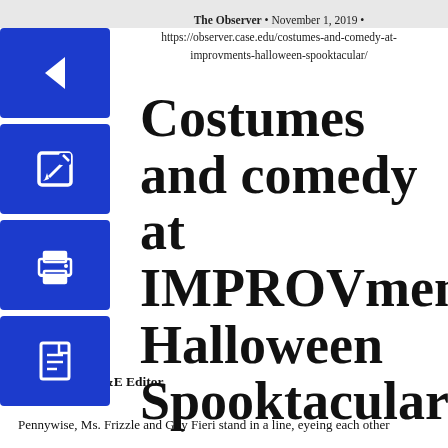The Observer • November 1, 2019 • https://observer.case.edu/costumes-and-comedy-at-improvments-halloween-spooktacular/
Costumes and comedy at IMPROVment's Halloween Spooktacular
Yvonne Pan, A&E Editor
Pennywise, Ms. Frizzle and Guy Fieri stand in a line, eyeing each other